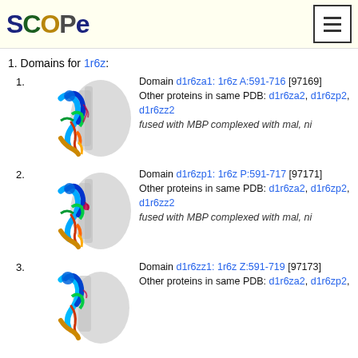SCOPe
1. Domains for 1r6z:
1. Domain d1r6za1: 1r6z A:591-716 [97169] Other proteins in same PDB: d1r6za2, d1r6zp2, d1r6zz2 fused with MBP complexed with mal, ni
[Figure (illustration): Protein structure ribbon diagram for d1r6za1, colored blue/green/orange on grey background]
2. Domain d1r6zp1: 1r6z P:591-717 [97171] Other proteins in same PDB: d1r6za2, d1r6zp2, d1r6zz2 fused with MBP complexed with mal, ni
[Figure (illustration): Protein structure ribbon diagram for d1r6zp1, colored blue/green/orange on grey background]
3. Domain d1r6zz1: 1r6z Z:591-719 [97173] Other proteins in same PDB: d1r6za2, d1r6zp2,